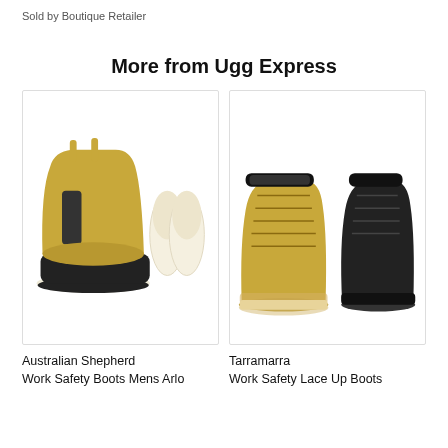Sold by Boutique Retailer
More from Ugg Express
[Figure (photo): Chelsea slip-on work safety boot in tan/wheat color with black elastic side panel, shown with a sheepskin insole beside it]
Australian Shepherd Work Safety Boots Mens Arlo
[Figure (photo): Lace-up work safety boots in wheat/tan color and black color shown together, three boots displayed]
Tarramarra Work Safety Lace Up Boots